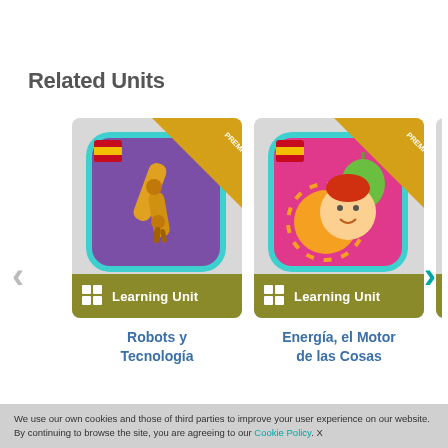Related Units
[Figure (screenshot): Carousel of Learning Unit cards. Card 1: 'Robots y Tecnología' - app icon with robot arm on purple background, PREMIUM ribbon, Learning Unit label. Card 2: 'Energía, el Motor de las Cosas' - app icon with sun/fruits/child on pink background, PREMIUM ribbon, Learning Unit label. Card 3: partially visible card with Learning Unit label. Left grey arrow and right teal arrow navigation controls.]
Robots y Tecnología
Energía, el Motor de las Cosas
We use our own cookies and those of third parties to improve your user experience on our website. By continuing to browse the site, you are agreeing to our Cookie Policy. X